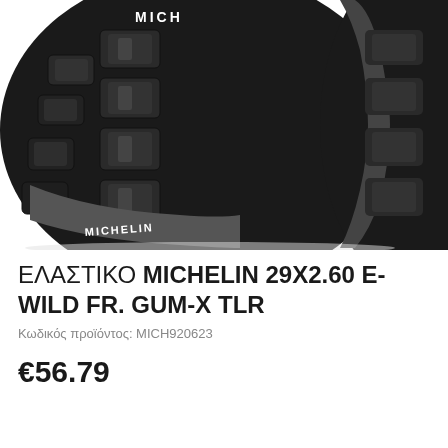[Figure (photo): Black Michelin mountain bike tire (E-Wild FR. GUM-X TLR 29x2.60) shown at an angle, displaying the aggressive knobby tread pattern. The tire is black with white Michelin branding on the sidewall.]
ΕΛΑΣΤΙΚΟ MICHELIN 29X2.60 E-WILD FR. GUM-X TLR
Κωδικός προϊόντος: MICH920623
€56.79